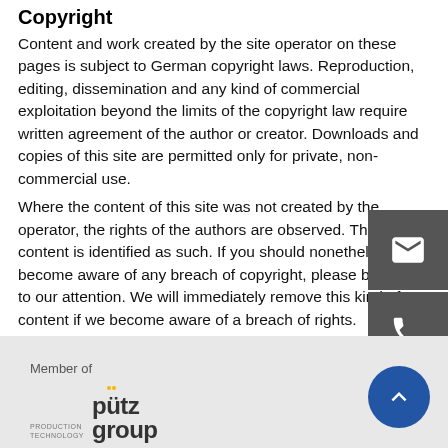Copyright
Content and work created by the site operator on these pages is subject to German copyright laws. Reproduction, editing, dissemination and any kind of commercial exploitation beyond the limits of the copyright law require written agreement of the author or creator. Downloads and copies of this site are permitted only for private, non-commercial use.
Where the content of this site was not created by the operator, the rights of the authors are observed. Third-party content is identified as such. If you should nonetheless become aware of any breach of copyright, please bring this to our attention. We will immediately remove this kind of content if we become aware of a breach of rights.
[Figure (infographic): Three dark grey icon buttons on the right side: email/envelope icon, phone/handset icon, location pin icon]
Member of
[Figure (logo): Pütz Group logo with Production Technology text and yellow dots above the u in putz]
[Figure (infographic): Blue circular scroll-to-top button with upward chevron arrow]